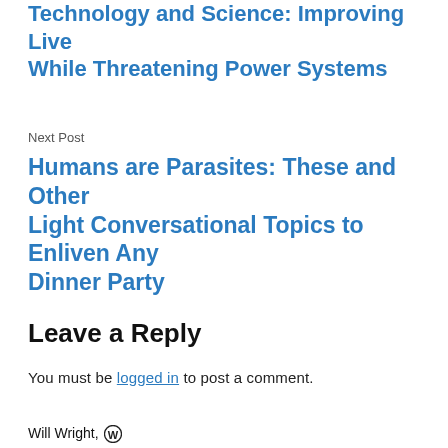Technology and Science: Improving Live While Threatening Power Systems
Next Post
Humans are Parasites: These and Other Light Conversational Topics to Enliven Any Dinner Party
Leave a Reply
You must be logged in to post a comment.
Will Wright, (W)